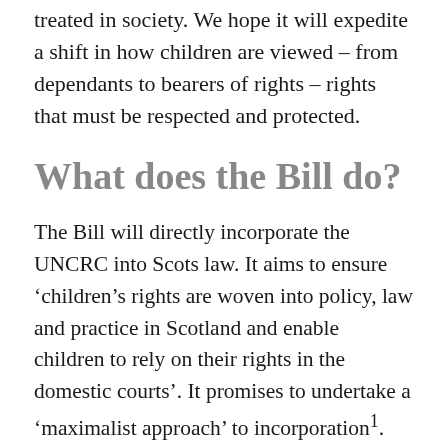treated in society. We hope it will expedite a shift in how children are viewed – from dependants to bearers of rights – rights that must be respected and protected.
What does the Bill do?
The Bill will directly incorporate the UNCRC into Scots law. It aims to ensure 'children's rights are woven into policy, law and practice in Scotland and enable children to rely on their rights in the domestic courts'. It promises to undertake a 'maximalist approach' to incorporation1. The Bill sets out a range of provisions that change the statute rights and...